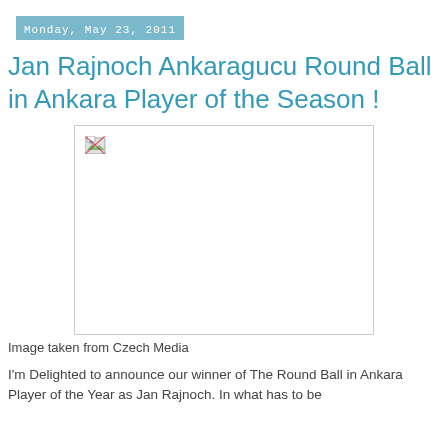Monday, May 23, 2011
Jan Rajnoch Ankaragucu Round Ball in Ankara Player of the Season !
[Figure (photo): Broken/missing image placeholder with a broken image icon in the top-left corner]
Image taken from Czech Media
I'm Delighted to announce our winner of The Round Ball in Ankara Player of the Year as Jan Rajnoch. In what has to be